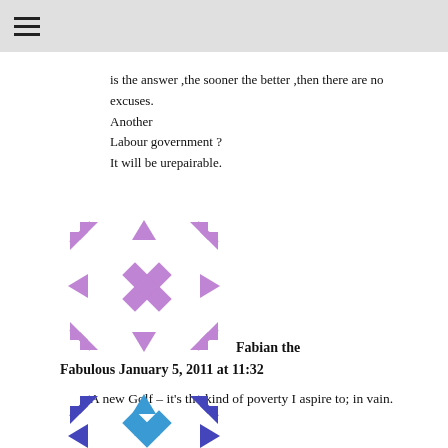☰
is the answer ,the sooner the better ,then there are no excuses.
Another
Labour government ?
It will be urepairable.
[Figure (illustration): Purple decorative avatar/icon with geometric diamond and arrow pattern]
Fabian the Fabulous January 5, 2011 at 11:32
A new Golf – it's the kind of poverty I aspire to; in vain.
[Figure (illustration): Blue/dark decorative avatar/icon with geometric arrow pattern, partially visible at bottom]